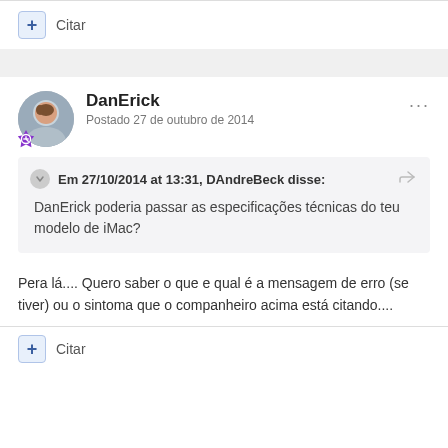+ Citar
DanErick
Postado 27 de outubro de 2014
Em 27/10/2014 at 13:31, DAndreBeck disse:
DanErick poderia passar as especificações técnicas do teu modelo de iMac?
Pera lá.... Quero saber o que e qual é a mensagem de erro (se tiver) ou o sintoma que o companheiro acima está citando....
+ Citar